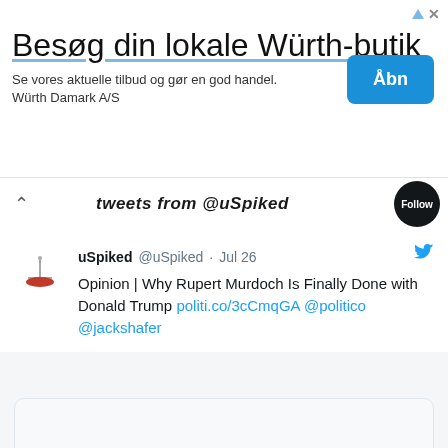[Figure (screenshot): Advertisement banner for Würth store. Title: 'Besøg din lokale Würth-butik'. Subtitle: 'Se vores aktuelle tilbud og gør en god handel. Würth Damark A/S'. Blue 'Åbn' button on the right.]
[Figure (screenshot): Twitter/social media feed screenshot showing a tweet from @uSpiked dated Jul 26: 'Opinion | Why Rupert Murdoch Is Finally Done with Donald Trump politi.co/3cCmqGA @politico @jackshafer'. Below the tweet text is an embedded image area and a link preview card showing 'politico.com' and 'Opinion | Why Rupert Murdoch Is Finally'.]